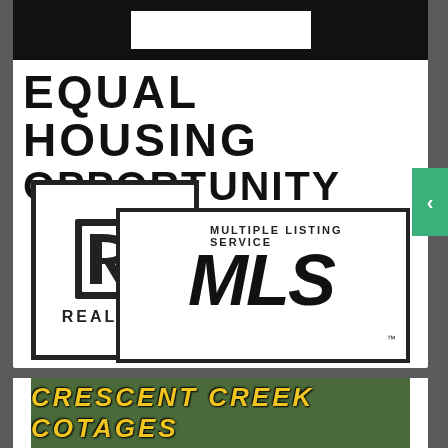[Figure (logo): Equal Housing Opportunity logo with black banner at top and bold text reading EQUAL HOUSING OPPORTUNITY]
[Figure (logo): REALTOR and Multiple Listing Service MLS combined logo badge]
[Figure (logo): Crescent Creek Cotages sign with yellow decorative text on green/nature background]